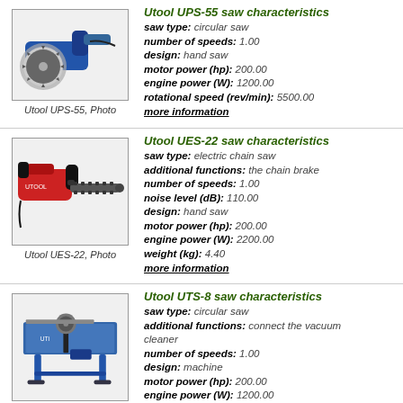[Figure (photo): Utool UPS-55 circular saw, hand-held power tool, blue and silver]
Utool UPS-55, Photo
Utool UPS-55 saw characteristics
saw type: circular saw
number of speeds: 1.00
design: hand saw
motor power (hp): 200.00
engine power (W): 1200.00
rotational speed (rev/min): 5500.00
more information
[Figure (photo): Utool UES-22 electric chain saw, red and black]
Utool UES-22, Photo
Utool UES-22 saw characteristics
saw type: electric chain saw
additional functions: the chain brake
number of speeds: 1.00
noise level (dB): 110.00
design: hand saw
motor power (hp): 200.00
engine power (W): 2200.00
weight (kg): 4.40
more information
[Figure (photo): Utool UTS-8 table circular saw, blue machine on stand]
Utool UTS-8, Photo
Utool UTS-8 saw characteristics
saw type: circular saw
additional functions: connect the vacuum cleaner
number of speeds: 1.00
design: machine
motor power (hp): 200.00
engine power (W): 1200.00
rotational speed (rev/min): 4800.00
weight (kg): 16.00
more information